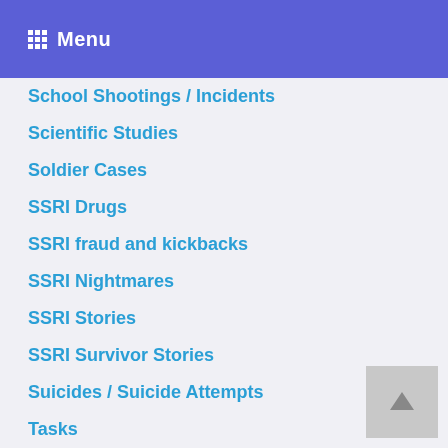Menu
School Shootings / Incidents
Scientific Studies
Soldier Cases
SSRI Drugs
SSRI fraud and kickbacks
SSRI Nightmares
SSRI Stories
SSRI Survivor Stories
Suicides / Suicide Attempts
Tasks
Testimonial
Videos
Women Teacher Molestations
Won SSRI Criminal Cases
Workplace Violence